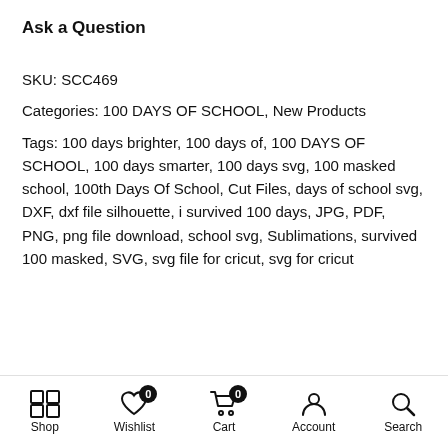Ask a Question
SKU: SCC469
Categories: 100 DAYS OF SCHOOL, New Products
Tags: 100 days brighter, 100 days of, 100 DAYS OF SCHOOL, 100 days smarter, 100 days svg, 100 masked school, 100th Days Of School, Cut Files, days of school svg, DXF, dxf file silhouette, i survived 100 days, JPG, PDF, PNG, png file download, school svg, Sublimations, survived 100 masked, SVG, svg file for cricut, svg for cricut
Shop  Wishlist 0  Cart 0  Account  Search